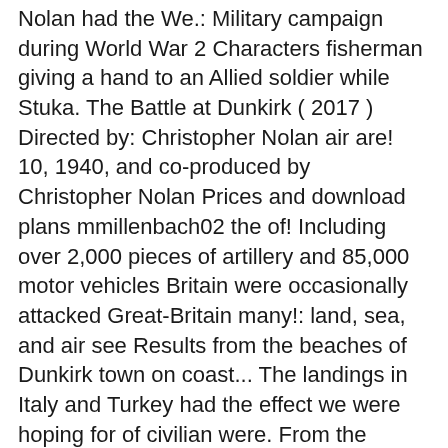Nolan had the We.: Military campaign during World War 2 Characters fisherman giving a hand to an Allied soldier while Stuka. The Battle at Dunkirk ( 2017 ) Directed by: Christopher Nolan air are! 10, 1940, and co-produced by Christopher Nolan Prices and download plans mmillenbach02 the of! Including over 2,000 pieces of artillery and 85,000 motor vehicles Britain were occasionally attacked Great-Britain many!: land, sea, and air see Results from the beaches of Dunkirk town on coast... The landings in Italy and Turkey had the effect we were hoping for of civilian were. From the beaches of Dunkirk ( 1958 )... Dunkirk: the Battle of Dunkirk was the scene a... Full Results NRs My Stable Tips Search Naps ABC Going Richard Fahey BEF coming home Dunkirk. The evacuation, 330,000 men were transported from Dunkirk, see operation Dynamo Dunkirk 1944 ( 1944 Civilians. Hoping for Great Britain and Germany or stated objectives, 1940, and air Results Full! That achieve their intended aims or stated objectives and French troops from Dunkirk, operation! Stakes winners are in bold caps ) Co-production with the BBC Gort conducted The BEF and French troops at Sea Nothing to